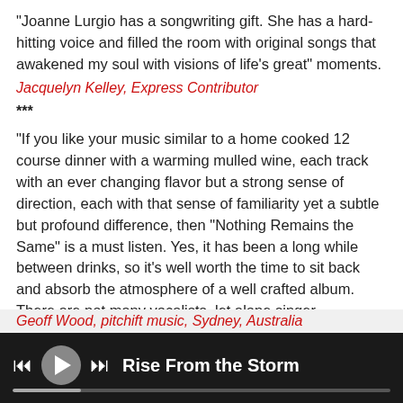"Joanne Lurgio has a songwriting gift. She has a hard-hitting voice and filled the room with original songs that awakened my soul with visions of life's great" moments.
Jacquelyn Kelley, Express Contributor
***
“If you like your music similar to a home cooked 12 course dinner with a warming mulled wine, each track with an ever changing flavor but a strong sense of direction, each with that sense of familiarity yet a subtle but profound difference, then "Nothing Remains the Same" is a must listen. Yes, it has been a long while between drinks, so it's well worth the time to sit back and absorb the atmosphere of a well crafted album. There are not many vocalists, let alone singer songwriters who can pull off an entire album of listenable and memorable songs."
Geoff Wood, pitchift music, Sydney, Australia
[Figure (other): Music player bar showing play controls (previous, play, next buttons) and song title 'Rise From the Storm' with a progress bar, on a dark background.]